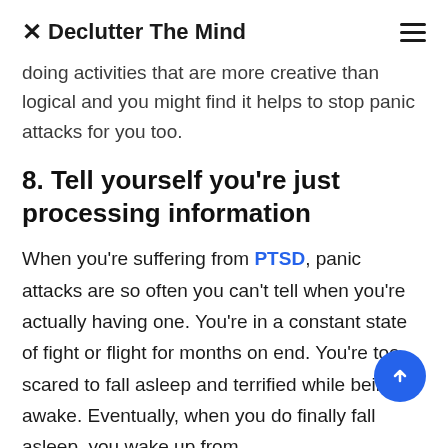⌘ Declutter The Mind
doing activities that are more creative than logical and you might find it helps to stop panic attacks for you too.
8. Tell yourself you're just processing information
When you're suffering from PTSD, panic attacks are so often you can't tell when you're actually having one. You're in a constant state of fight or flight for months on end. You're too scared to fall asleep and terrified while being awake. Eventually, when you do finally fall asleep, you wake up from